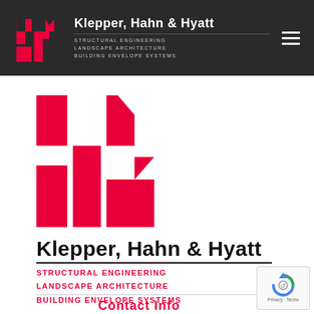Klepper, Hahn & Hyatt — STRUCTURAL ENGINEERING LANDSCAPE ARCHITECTURE BUILDING ENVELOPE SYSTEMS
[Figure (logo): KHH red geometric logo mark — large version in white content area]
Klepper, Hahn & Hyatt
STRUCTURAL ENGINEERING
LANDSCAPE ARCHITECTURE
BUILDING ENVELOPE SYSTEMS
Contact Info
[Figure (logo): reCAPTCHA badge with circular arrow icon and Privacy · Terms text]